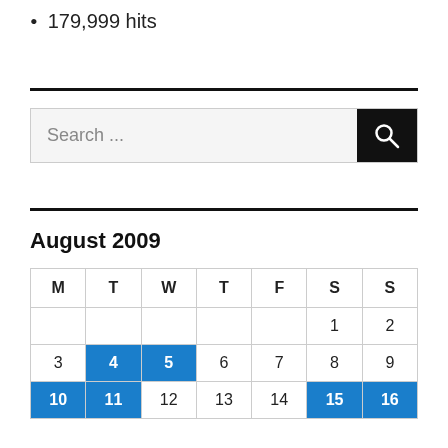179,999 hits
[Figure (other): Search bar with text 'Search ...' and a black magnifying glass button]
August 2009
| M | T | W | T | F | S | S |
| --- | --- | --- | --- | --- | --- | --- |
|  |  |  |  |  | 1 | 2 |
| 3 | 4 | 5 | 6 | 7 | 8 | 9 |
| 10 | 11 | 12 | 13 | 14 | 15 | 16 |